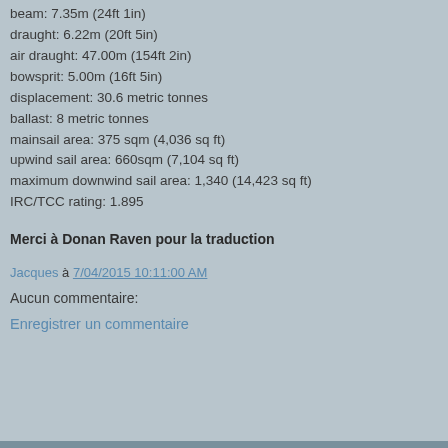beam: 7.35m (24ft 1in)
draught: 6.22m (20ft 5in)
air draught: 47.00m (154ft 2in)
bowsprit: 5.00m (16ft 5in)
displacement: 30.6 metric tonnes
ballast: 8 metric tonnes
mainsail area: 375 sqm (4,036 sq ft)
upwind sail area: 660sqm (7,104 sq ft)
maximum downwind sail area: 1,340 (14,423 sq ft)
IRC/TCC rating: 1.895
Merci à Donan Raven pour la traduction
Jacques à 7/04/2015 10:11:00 AM
Aucun commentaire:
Enregistrer un commentaire